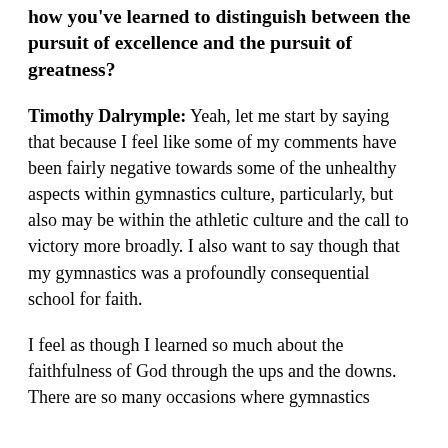that a go on. But, how have you, may thoughts on how you've learned to distinguish between the pursuit of excellence and the pursuit of greatness?
Timothy Dalrymple: Yeah, let me start by saying that because I feel like some of my comments have been fairly negative towards some of the unhealthy aspects within gymnastics culture, particularly, but also may be within the athletic culture and the call to victory more broadly. I also want to say though that my gymnastics was a profoundly consequential school for faith.
I feel as though I learned so much about the faithfulness of God through the ups and the downs. There are so many occasions where gymnastics...